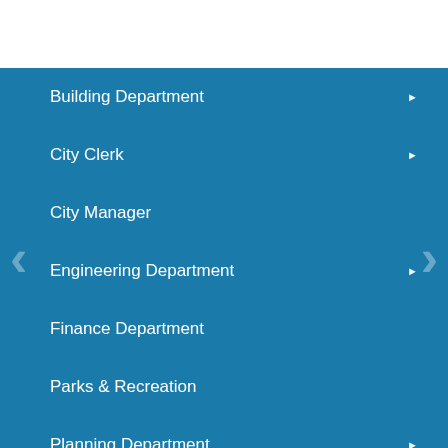Building Department
City Clerk
City Manager
Engineering Department
Finance Department
Parks & Recreation
Planning Department